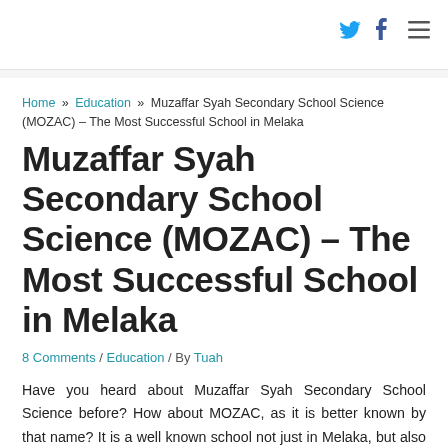Twitter Facebook Menu
Home » Education » Muzaffar Syah Secondary School Science (MOZAC) – The Most Successful School in Melaka
Muzaffar Syah Secondary School Science (MOZAC) – The Most Successful School in Melaka
8 Comments / Education / By Tuah
Have you heard about Muzaffar Syah Secondary School Science before? How about MOZAC, as it is better known by that name? It is a well known school not just in Melaka, but also in Malaysia. It been the talk of the town lately due to